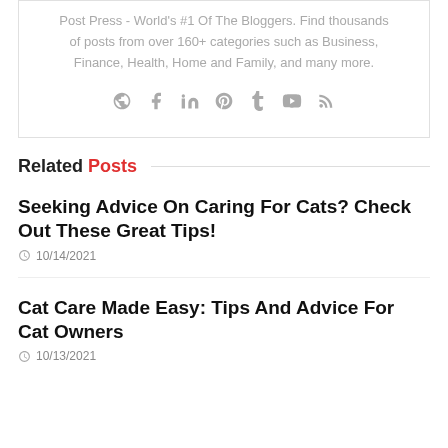Post Press - World's #1 Of The Bloggers. Find thousands of posts from over 160+ categories such as Business, Finance, Health, Home and Family, and many more.
[Figure (infographic): Social media icons row: globe, Facebook, LinkedIn, Pinterest, Tumblr, YouTube, RSS feed - all in grey]
Related Posts
Seeking Advice On Caring For Cats? Check Out These Great Tips!
10/14/2021
Cat Care Made Easy: Tips And Advice For Cat Owners
10/13/2021